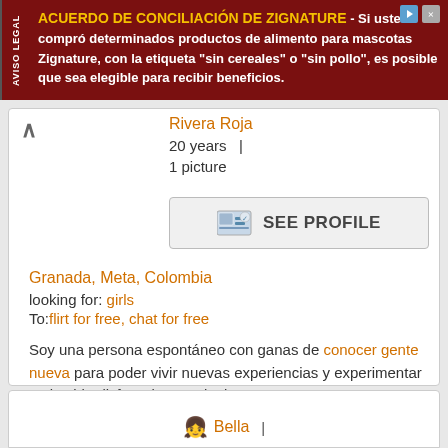[Figure (screenshot): Advertisement banner for ACUERDO DE CONCILIACIÓN DE ZIGNATURE in dark red with yellow title and white text, with 'AVISO LEGAL' side label]
Rivera Roja
20 years | 1 picture
[Figure (screenshot): SEE PROFILE button with small photo icon]
Granada, Meta, Colombia
looking for: girls
To:flirt for free, chat for free
Soy una persona espontáneo con ganas de conocer gente nueva para poder vivir nuevas experiencias y experimentar en la vida disfrutarla con alguien
Bella |